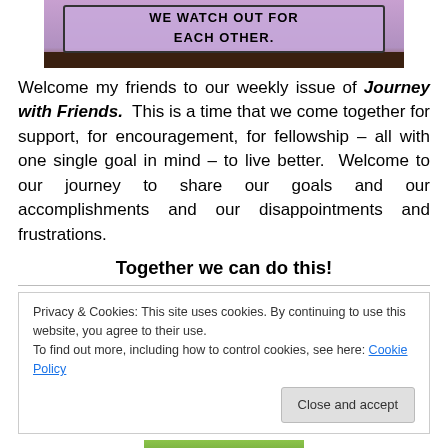[Figure (illustration): Comic-style banner image with text 'WE WATCH OUT FOR EACH OTHER.' on a purple/lavender background with dark ground at bottom.]
Welcome my friends to our weekly issue of Journey with Friends. This is a time that we come together for support, for encouragement, for fellowship – all with one single goal in mind – to live better. Welcome to our journey to share our goals and our accomplishments and our disappointments and frustrations.
Together we can do this!
Privacy & Cookies: This site uses cookies. By continuing to use this website, you agree to their use.
To find out more, including how to control cookies, see here: Cookie Policy
Close and accept